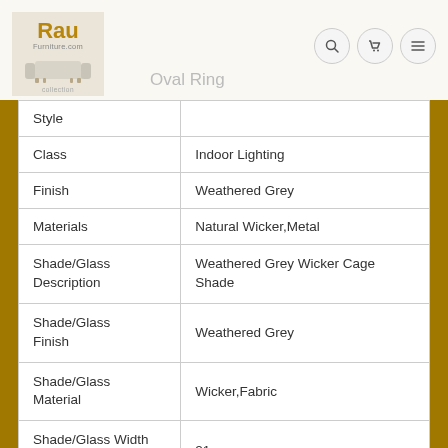Rau Furniture.com — Oval Ring
| Attribute | Value |
| --- | --- |
| Style |  |
| Class | Indoor Lighting |
| Finish | Weathered Grey |
| Materials | Natural Wicker,Metal |
| Shade/Glass Description | Weathered Grey Wicker Cage Shade |
| Shade/Glass Finish | Weathered Grey |
| Shade/Glass Material | Wicker,Fabric |
| Shade/Glass Width at Bottom | 21 |